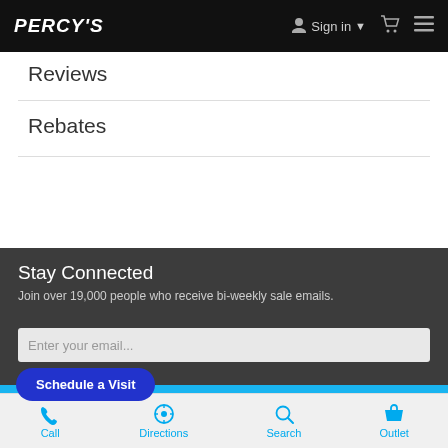PERCY'S  Sign in  [cart]  [menu]
Reviews
Rebates
Stay Connected
Join over 19,000 people who receive bi-weekly sale emails.
Enter your email...
Schedule a Visit
Subscribe Now!
Call  Directions  Search  Outlet